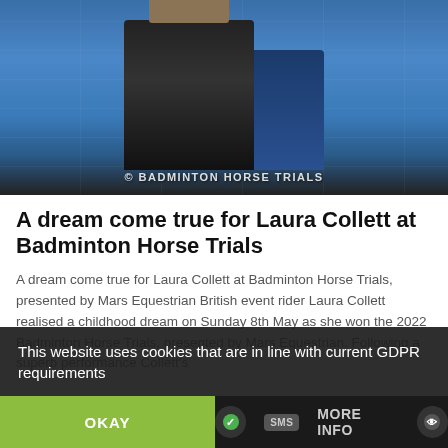[Figure (photo): Photo of Laura Collett holding a trophy at Badminton Horse Trials with a MARS-branded backdrop and another person on the right holding a horse. Watermark reads © BADMINTON HORSE TRIALS.]
A dream come true for Laura Collett at Badminton Horse Trials
A dream come true for Laura Collett at Badminton Horse Trials, presented by Mars Equestrian British event rider Laura Collett realised a childhood dream on Sunday 8th May as she won the 2022 Badminton Horse Trials, presented by Mars Equestrian. Following a superb performance Collett's
This website uses cookies that are in line with current GDPR requirements
OKAY
MORE INFO